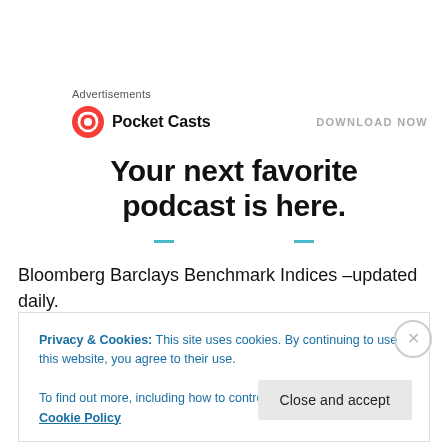Advertisements
[Figure (other): Pocket Casts advertisement banner with logo, brand name, and 'DOWNLOAD NOW' call to action. Bold headline reads: Your next favorite podcast is here.]
Bloomberg Barclays Benchmark Indices –updated daily. The first link is to the legacy Barclays page, and the
Privacy & Cookies: This site uses cookies. By continuing to use this website, you agree to their use. To find out more, including how to control cookies, see here: Cookie Policy
Close and accept